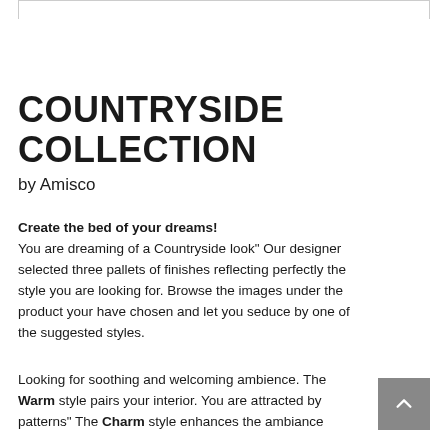COUNTRYSIDE COLLECTION
by Amisco
Create the bed of your dreams! You are dreaming of a Countryside look" Our designer selected three pallets of finishes reflecting perfectly the style you are looking for. Browse the images under the product your have chosen and let you seduce by one of the suggested styles.
Looking for soothing and welcoming ambience. The Warm style pairs your interior. You are attracted by patterns" The Charm style enhances the ambiance